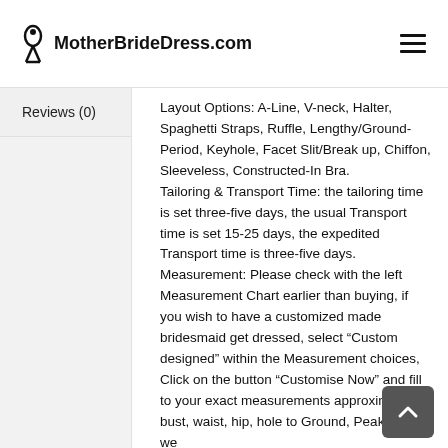MotherBrideDress.com
Reviews (0)
Layout Options: A-Line, V-neck, Halter, Spaghetti Straps, Ruffle, Lengthy/Ground-Period, Keyhole, Facet Slit/Break up, Chiffon, Sleeveless, Constructed-In Bra.
Tailoring & Transport Time: the tailoring time is set three-five days, the usual Transport time is set 15-25 days, the expedited Transport time is three-five days.
Measurement: Please check with the left Measurement Chart earlier than buying, if you wish to have a customized made bridesmaid get dressed, select “Custom designed” within the Measurement choices, Click on the button “Customise Now” and fill to your exact measurements approximately bust, waist, hip, hole to Ground, Peak, then we